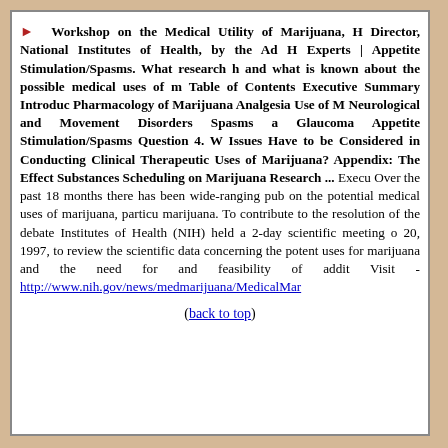Workshop on the Medical Utility of Marijuana, Director, National Institutes of Health, by the Ad H Experts | Appetite Stimulation/Spasms. What research h and what is known about the possible medical uses of m Table of Contents Executive Summary Introduc Pharmacology of Marijuana Analgesia Use of M Neurological and Movement Disorders Spasms a Glaucoma Appetite Stimulation/Spasms Question 4. Issues Have to be Considered in Conducting Clinical Therapeutic Uses of Marijuana? Appendix: The Effect Substances Scheduling on Marijuana Research ... Executive Summary. Over the past 18 months there has been wide-ranging pub on the potential medical uses of marijuana, particu marijuana. To contribute to the resolution of the debate Institutes of Health (NIH) held a 2-day scientific meeting o 20, 1997, to review the scientific data concerning the potent uses for marijuana and the need for and feasibility of addit Visit - http://www.nih.gov/news/medmarijuana/MedicalMar
(back to top)